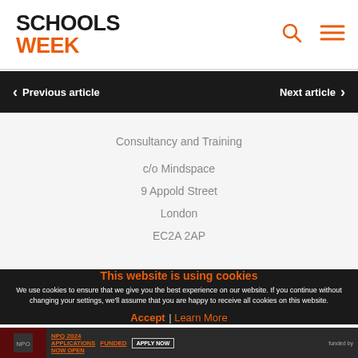SCHOOLS WEEK
Previous article | Next article
Consultancy and Training
c/o Mindspace
9 Appold Street
London
EC2A 2AP
This website is using cookies
We use cookies to ensure that we give you the best experience on our website. If you continue without changing your settings, we'll assume that you are happy to receive all cookies on this website.
Accept | Learn More
[Figure (screenshot): NPQ 2024 Applications Now Open advertisement strip at bottom of page]